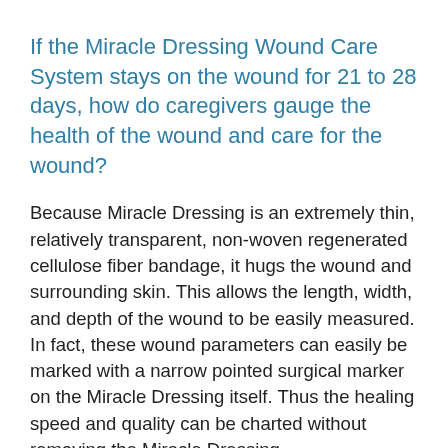If the Miracle Dressing Wound Care System stays on the wound for 21 to 28 days, how do caregivers gauge the health of the wound and care for the wound?
Because Miracle Dressing is an extremely thin, relatively transparent, non-woven regenerated cellulose fiber bandage, it hugs the wound and surrounding skin. This allows the length, width, and depth of the wound to be easily measured. In fact, these wound parameters can easily be marked with a narrow pointed surgical marker on the Miracle Dressing itself. Thus the healing speed and quality can be charted without removing the Miracle Dressing.
How can one measure the speed and quality of healing and the progress of the wound?